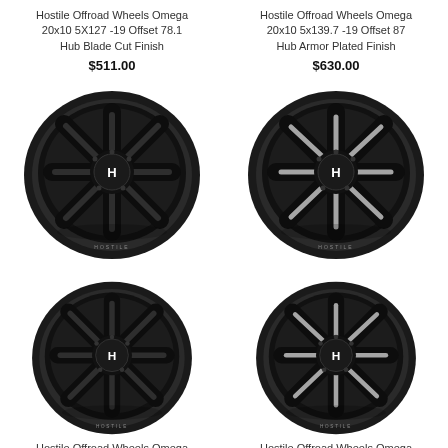Hostile Offroad Wheels Omega 20x10 5X127 -19 Offset 78.1 Hub Blade Cut Finish
$511.00
Hostile Offroad Wheels Omega 20x10 5x139.7 -19 Offset 87 Hub Armor Plated Finish
$630.00
[Figure (photo): Hostile Offroad Omega wheel, black, Asphalt Finish]
[Figure (photo): Hostile Offroad Omega wheel, black with milled spokes, Blade Cut Finish]
Hostile Offroad Wheels Omega 20x10 5x139.7 -19 Offset 87 Hub Asphalt Finish
$475.00
Hostile Offroad Wheels Omega 20x10 5x139.7 -19 Offset 87 Hub Blade Cut Finish
$511.00